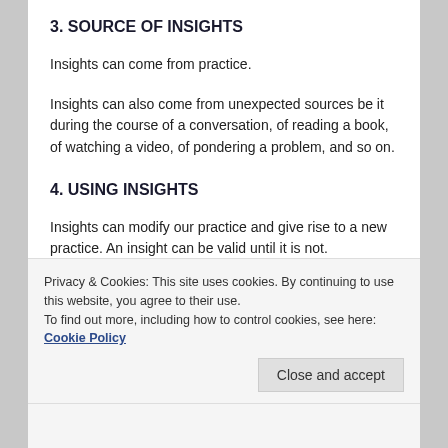3. SOURCE OF INSIGHTS
Insights can come from practice.
Insights can also come from unexpected sources be it during the course of a conversation, of reading a book, of watching a video, of pondering a problem, and so on.
4. USING INSIGHTS
Insights can modify our practice and give rise to a new practice. An insight can be valid until it is not.
Insights are a means to an end. Do not get too hung up
Privacy & Cookies: This site uses cookies. By continuing to use this website, you agree to their use.
To find out more, including how to control cookies, see here: Cookie Policy